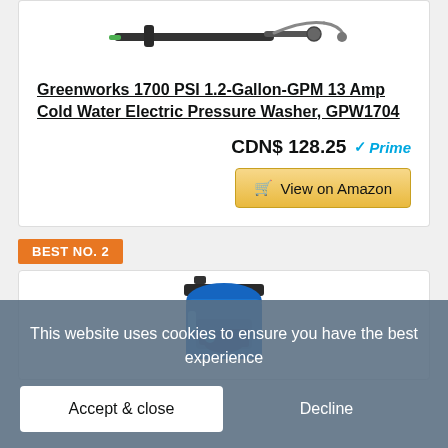[Figure (photo): Greenworks electric pressure washer product image - top portion visible]
Greenworks 1700 PSI 1.2-Gallon-GPM 13 Amp Cold Water Electric Pressure Washer, GPW1704
CDN$ 128.25 ✓Prime
View on Amazon
BEST NO. 2
[Figure (photo): Blue electric pressure washer product image - partially visible, overlaid by cookie banner]
This website uses cookies to ensure you have the best experience
Accept & close
Decline